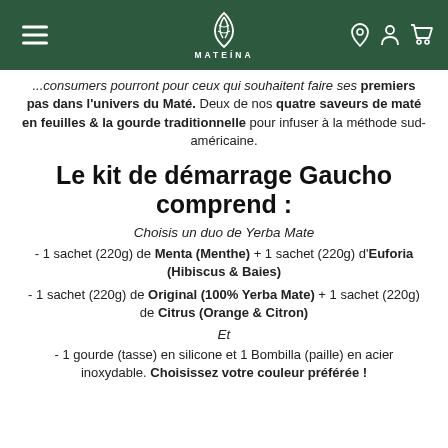MATEÍNA
...consumers pourront pour ceux qui souhaitent faire ses premiers pas dans l'univers du Maté. Deux de nos quatre saveurs de maté en feuilles & la gourde traditionnelle pour infuser à la méthode sud-américaine.
Le kit de démarrage Gaucho comprend :
Choisis un duo de Yerba Mate
- 1 sachet (220g) de Menta (Menthe) + 1 sachet (220g) d'Euforia (Hibiscus & Baies)
- 1 sachet (220g) de Original (100% Yerba Mate) + 1 sachet (220g) de Citrus (Orange & Citron)
Et
- 1 gourde (tasse) en silicone et 1 Bombilla (paille) en acier inoxydable. Choisissez votre couleur préférée !